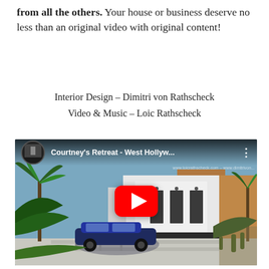from all the others. Your house or business deserve no less than an original video with original content!
Interior Design – Dimitri von Rathscheck
Video & Music – Loic Rathscheck
[Figure (screenshot): YouTube video embed showing 'Courtney's Retreat - West Hollyw...' with a thumbnail of a modern white house with a blue Tesla car in the driveway, palm trees, and a red YouTube play button in the center.]